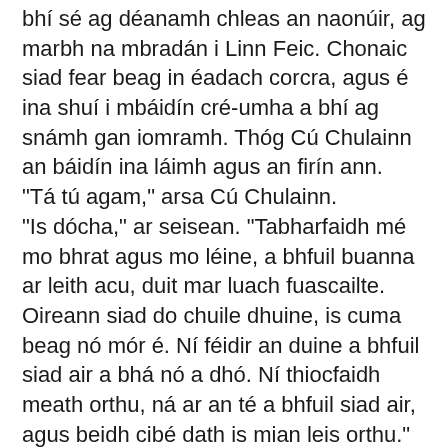bhí sé ag déanamh chleas an naonúir, ag marbh na mbradán i Linn Feic. Chonaic siad fear beag in éadach corcra, agus é ina shuí i mbáidín cré-umha a bhí ag snámh gan iomramh. Thóg Cú Chulainn an báidín ina láimh agus an firín ann.
"Tá tú agam," arsa Cú Chulainn.
"Is dócha," ar seisean. "Tabharfaidh mé mo bhrat agus mo léine, a bhfuil buanna ar leith acu, duit mar luach fuascailte. Oireann siad do chuile dhuine, is cuma beag nó mór é. Ní féidir an duine a bhfuil siad air a bhá nó a dhó. Ní thiocfaidh meath orthu, ná ar an té a bhfuil siad air, agus beidh cibé dath is mian leis orthu."
"Tá siad agam cheana fein," arsa Cú Chulainn.
"Tóg leat mo sciath agus mo shleá agus ní gheobhaidh éinne an bua ort agus ní ghortófar thú chomh fada agus a bheas an sciath agat mar chosaint."
"Is liomsa iad," arsa Cú Chulainn. "Tá siad ar chroí